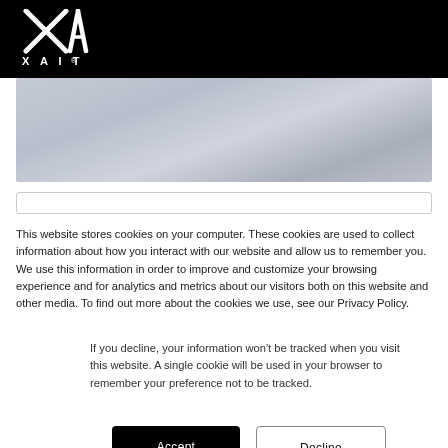XAIT
[Figure (photo): Grayscale hero image showing a person in a work/office setting]
This website stores cookies on your computer. These cookies are used to collect information about how you interact with our website and allow us to remember you. We use this information in order to improve and customize your browsing experience and for analytics and metrics about our visitors both on this website and other media. To find out more about the cookies we use, see our Privacy Policy.
If you decline, your information won't be tracked when you visit this website. A single cookie will be used in your browser to remember your preference not to be tracked.
Accept
Decline